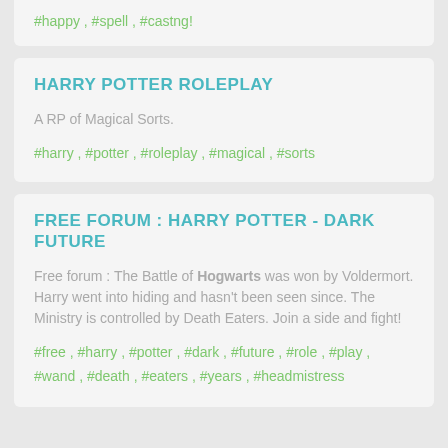#happy , #spell , #castng!
HARRY POTTER ROLEPLAY
A RP of Magical Sorts.
#harry , #potter , #roleplay , #magical , #sorts
FREE FORUM : HARRY POTTER - DARK FUTURE
Free forum : The Battle of Hogwarts was won by Voldermort. Harry went into hiding and hasn't been seen since. The Ministry is controlled by Death Eaters. Join a side and fight!
#free , #harry , #potter , #dark , #future , #role , #play , #wand , #death , #eaters , #years , #headmistress